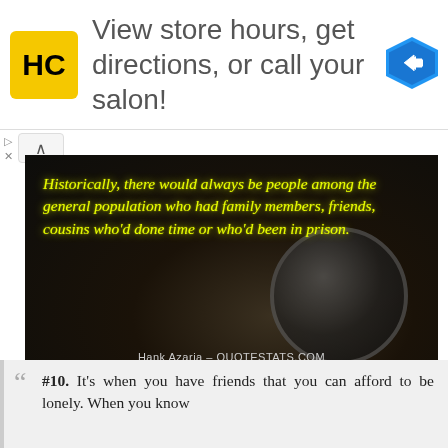[Figure (screenshot): Advertisement banner for a salon app showing HC logo, text 'View store hours, get directions, or call your salon!' and a blue navigation arrow icon]
[Figure (photo): Dark photo of a vintage camera with yellow glowing cursive text overlay reading 'Historically, there would always be people among the general population who had family members, friends, cousins who'd done time or who'd been in prison.' attributed to Hank Azaria - QUOTESTATS.COM]
#10. It's when you have friends that you can afford to be lonely. When you know